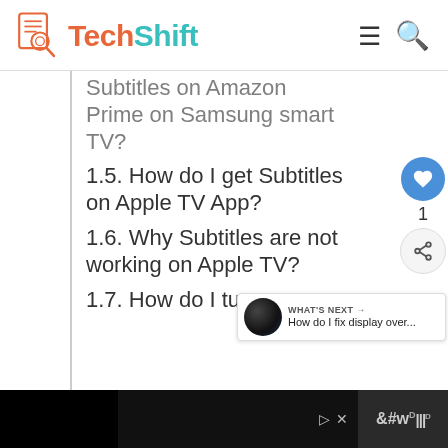[Figure (logo): TechShift logo with document/search icon and two-tone text: 'Tech' in orange, 'Shift' in teal]
Subtitles on Amazon Prime on Samsung smart TV?
1.5. How do I get Subtitles on Apple TV App?
1.6. Why Subtitles are not working on Apple TV?
1.7. How do I turn